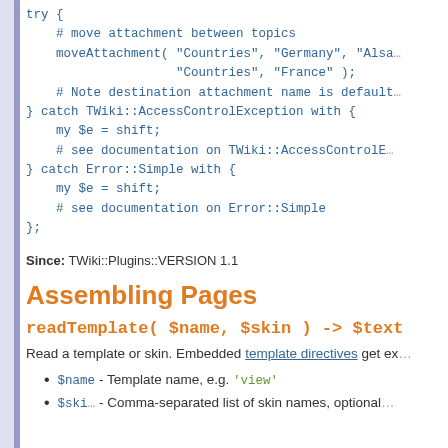use Error qw( :try );

try {
    # move attachment between topics
    moveAttachment( "Countries", "Germany", "Alsac
                    "Countries", "France" );
    # Note destination attachment name is defaulte
} catch TWiki::AccessControlException with {
    my $e = shift;
    # see documentation on TWiki::AccessControlExc
} catch Error::Simple with {
    my $e = shift;
    # see documentation on Error::Simple
};
Since: TWiki::Plugins::VERSION 1.1
Assembling Pages
readTemplate( $name, $skin ) -> $text
Read a template or skin. Embedded template directives get ex
$name - Template name, e.g. 'view'
- Comma-separated list of skin names, optional